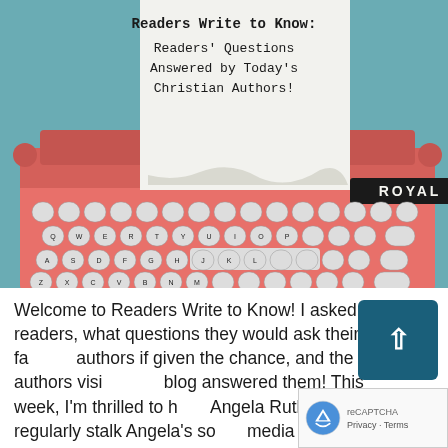[Figure (photo): Photo of a pink Royal typewriter with a sheet of paper in it. The paper reads: 'Readers Write to Know: Readers' Questions Answered by Today's Christian Authors!' in typewriter-style monospace font.]
Welcome to Readers Write to Know! I asked you, readers, what questions they would ask their favorite authors if given the chance, and the authors visiting my blog answered them! This week, I'm thrilled to have Angela Ruth Strong. I regularly stalk Angela's social media because she very openly took us on her breast